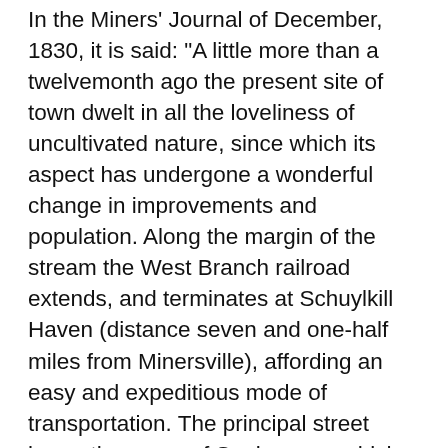In the Miners' Journal of December, 1830, it is said: "A little more than a twelvemonth ago the present site of town dwelt in all the loveliness of uncultivated nature, since which its aspect has undergone a wonderful change in improvements and population. Along the margin of the stream the West Branch railroad extends, and terminates at Schuylkill Haven (distance seven and one-half miles from Minersville), affording an easy and expeditious mode of transportation. The principal street bears the name of Sunbury, on which are situated all the stores and public buildings. It was formerly the old Sunbury road, communicating with the rich valleys in the direction of the Susquehanna. The northern portion of the village is of firm dry soil, gradually rising and affording a southern exposure, of favorable character for private dwellings. Seven large houses have already been erected during the present season on this spot by Messrs. Bennet and Gilmore, together with a number of small buildings in the same